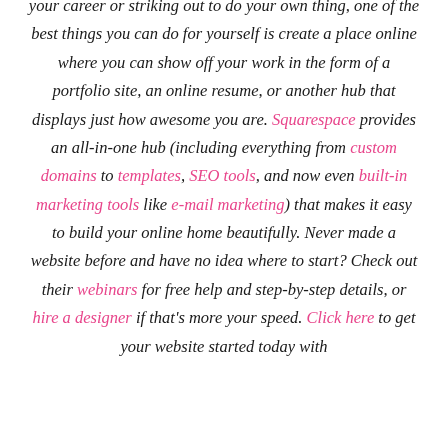your career or striking out to do your own thing, one of the best things you can do for yourself is create a place online where you can show off your work in the form of a portfolio site, an online resume, or another hub that displays just how awesome you are. Squarespace provides an all-in-one hub (including everything from custom domains to templates, SEO tools, and now even built-in marketing tools like e-mail marketing) that makes it easy to build your online home beautifully. Never made a website before and have no idea where to start? Check out their webinars for free help and step-by-step details, or hire a designer if that's more your speed. Click here to get your website started today with